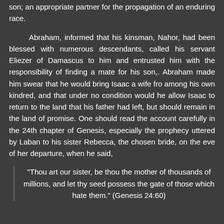son; an appropriate partner for the propagation of an enduring race.
Abraham, informed that his kinsman, Nahor, had been blessed with numerous descendants, called his servant Eliezer of Damascus to him and entrusted him with the responsibility of finding a mate for his son,. Abraham made him swear that he would bring Isaac a wife fro among his own kindred, and that under no condition would he allow Isaac to return to the land that his father had left, but should remain in the land of promise. One should read the account carefully in the 24th chapter of Genesis, especially the prophecy uttered by Laban to his sister Rebecca, the chosen bride, on the eve of her departure, when he said,
"Thou art our sister, be thou the mother of thousands of millions, and let thy seed possess the gate of those which hate them." (Genesis 24:60)